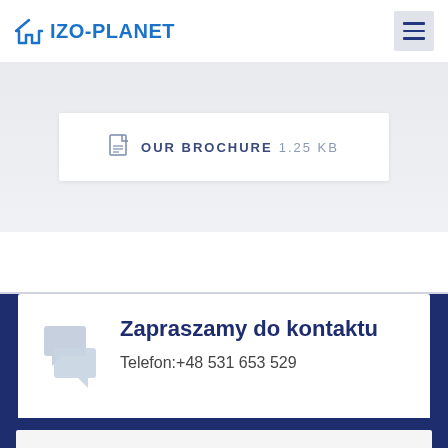[Figure (logo): IZO-PLANET logo with house icon in blue]
[Figure (other): Hamburger menu icon with three horizontal lines on light grey background]
OUR BROCHURE 1.25 KB
Zapraszamy do kontaktu
Telefon:+48 531 653 529